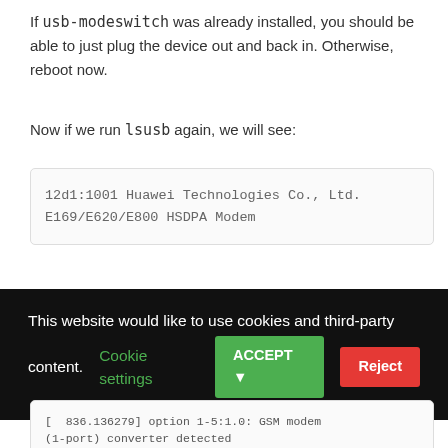If usb-modeswitch was already installed, you should be able to just plug the device out and back in. Otherwise, reboot now.
Now if we run lsusb again, we will see:
12d1:1001 Huawei Technologies Co., Ltd.
E169/E620/E800 HSDPA Modem
[Figure (screenshot): Cookie consent banner with black background. Text: 'This website would like to use cookies and third-party content.' with green 'Cookie settings' link, green 'ACCEPT' button, and red 'Reject' button.]
[  836.136279] option 1-5:1.0: GSM modem (1-port) converter detected
[  836.136377] usb 1-5: GSM modem (1-port) converter now attached to ttyUSB0
[  836.136457] option 1-5:1.1: GSM modem (1-port) converter detected
[  836.136520] usb 1-5: GSM modem (1-port) converter now attached to ttyUSB1
[  836.136585] option 1-5:1.2: GSM modem (1-port) converter detected